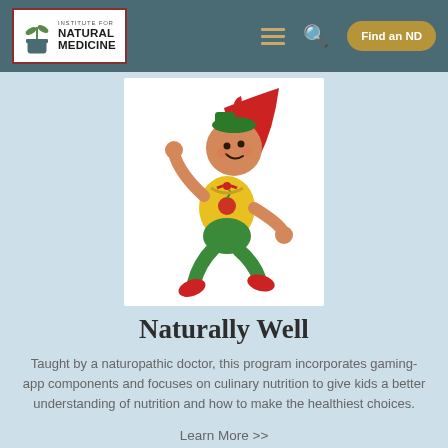Institute for Natural Medicine | menu | search | Find an ND
[Figure (illustration): Cartoon child superhero wearing red cape, green hat, yellow shirt, green pants and red sneakers, flying upward with one arm raised]
Naturally Well
Taught by a naturopathic doctor, this program incorporates gaming-app components and focuses on culinary nutrition to give kids a better understanding of nutrition and how to make the healthiest choices.
Learn More >>